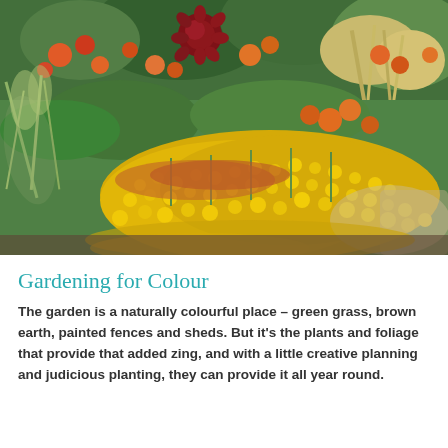[Figure (photo): A colourful garden border with bright yellow, orange, and red flowers including dahlias and marigolds, mixed with ornamental grasses, along a gravel path.]
Gardening for Colour
The garden is a naturally colourful place – green grass, brown earth, painted fences and sheds. But it's the plants and foliage that provide that added zing, and with a little creative planning and judicious planting, they can provide it all year round.